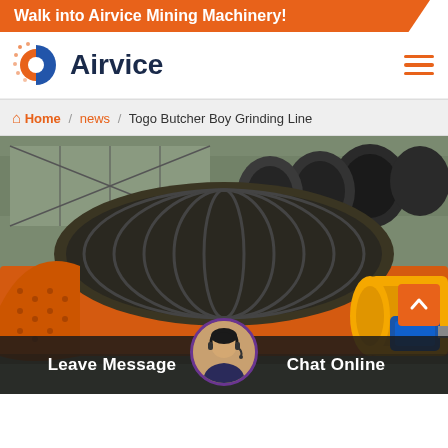Walk into Airvice Mining Machinery!
[Figure (logo): Airvice company logo — stylized orange and blue circular icon with dot pattern, next to bold dark text 'Airvice']
Home / news / Togo Butcher Boy Grinding Line
[Figure (photo): Industrial mining grinding mill machinery — large orange and yellow cylindrical ball mill or spiral classifier with black disc components and blue electric motor, photographed outdoors on a job site]
Leave Message
Chat Online